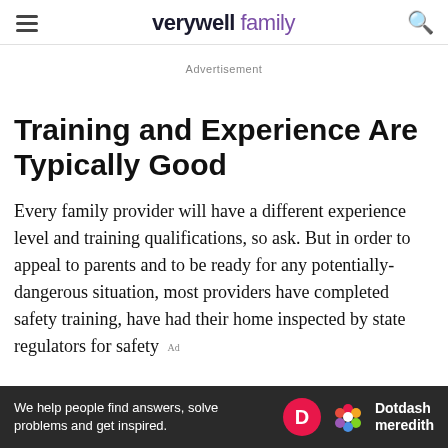verywell family
Advertisement
Training and Experience Are Typically Good
Every family provider will have a different experience level and training qualifications, so ask. But in order to appeal to parents and to be ready for any potentially-dangerous situation, most providers have completed safety training, have had their home inspected by state regulators for safety
[Figure (other): Dotdash Meredith advertisement banner: 'We help people find answers, solve problems and get inspired.' with Dotdash Meredith logo on dark background]